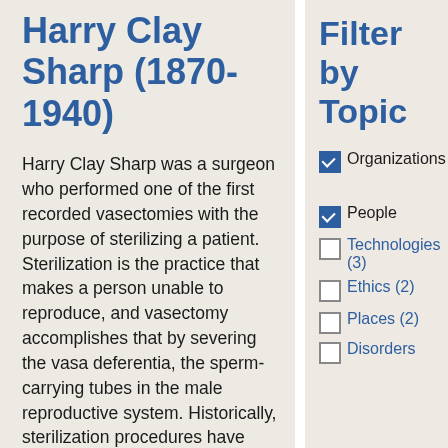Harry Clay Sharp (1870-1940)
Harry Clay Sharp was a surgeon who performed one of the first recorded vasectomies with the purpose of sterilizing a patient. Sterilization is the practice that makes a person unable to reproduce, and vasectomy accomplishes that by severing the vasa deferentia, the sperm-carrying tubes in the male reproductive system. Historically, sterilization procedures have varied in techniques, goals, and
Filter by Topic
Organizations (checked)
People (checked)
Technologies (3)
Ethics (2)
Places (2)
Disorders